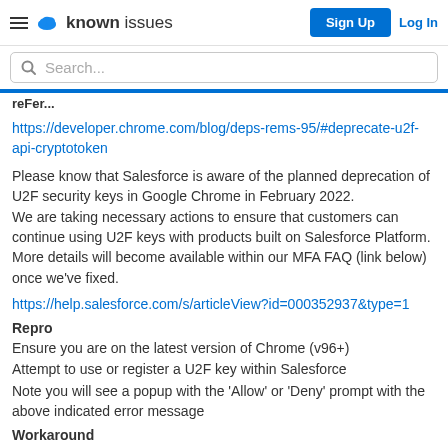known issues | Sign Up | Log In
Search...
reFer...
https://developer.chrome.com/blog/deps-rems-95/#deprecate-u2f-api-cryptotoken
Please know that Salesforce is aware of the planned deprecation of U2F security keys in Google Chrome in February 2022.
We are taking necessary actions to ensure that customers can continue using U2F keys with products built on Salesforce Platform. More details will become available within our MFA FAQ (link below) once we've fixed.
https://help.salesforce.com/s/articleView?id=000352937&type=1
Repro
Ensure you are on the latest version of Chrome (v96+)
Attempt to use or register a U2F key within Salesforce
Note you will see a popup with the 'Allow' or 'Deny' prompt with the above indicated error message
Workaround